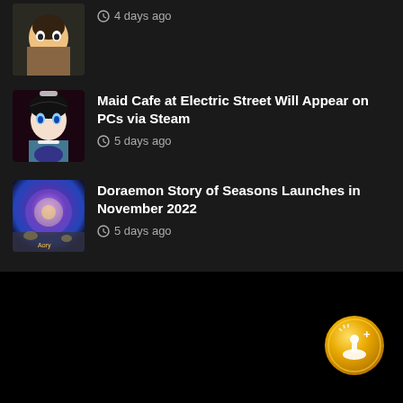[Figure (screenshot): Partial anime thumbnail at top (cropped)]
4 days ago
[Figure (screenshot): Maid Cafe anime thumbnail]
Maid Cafe at Electric Street Will Appear on PCs via Steam
5 days ago
[Figure (screenshot): Doraemon Story of Seasons fantasy purple/blue thumbnail]
Doraemon Story of Seasons Launches in November 2022
5 days ago
[Figure (logo): Gold circular gaming badge with joystick and plus icon]